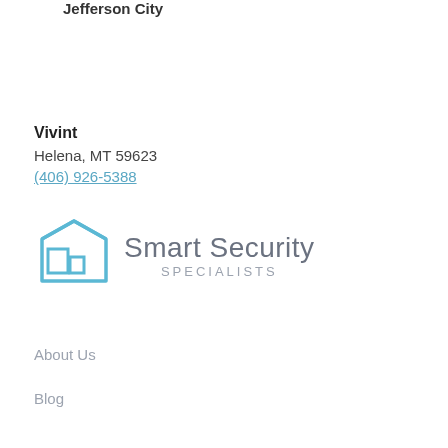Jefferson City
Vivint
Helena, MT 59623
(406) 926-5388
[Figure (logo): Smart Security Specialists logo with a house/shield icon in teal/light blue and gray text reading 'Smart Security SPECIALISTS']
About Us
Blog